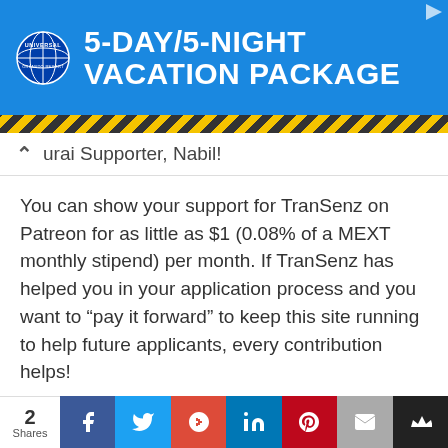[Figure (other): Universal Orlando Resort advertisement banner: blue background with Universal Orlando Resort logo (globe) on the left and bold white text reading '5-DAY/5-NIGHT VACATION PACKAGE' on the right. A diagonal yellow and black striped border appears at the bottom of the banner.]
urai Supporter, Nabil!
You can show your support for TranSenz on Patreon for as little as $1 (0.08% of a MEXT monthly stipend) per month. If TranSenz has helped you in your application process and you want to “pay it forward” to keep this site running to help future applicants, every contribution helps!